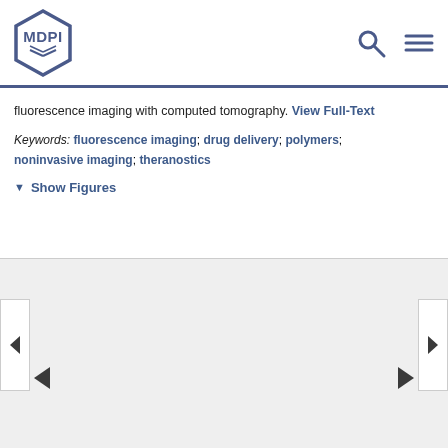MDPI
fluorescence imaging with computed tomography. View Full-Text
Keywords: fluorescence imaging; drug delivery; polymers; noninvasive imaging; theranostics
▼ Show Figures
[Figure (other): Figure viewer carousel with navigation arrows, showing a blank/loading figure panel with left and right navigation controls]